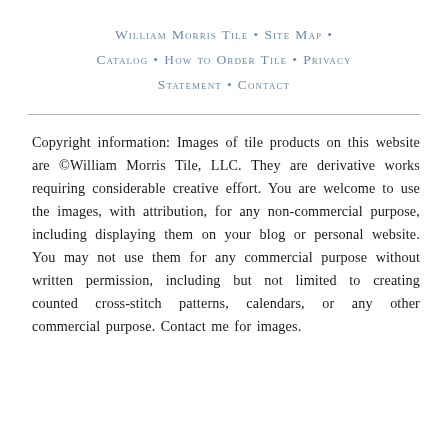William Morris Tile • Site Map • Catalog • How to Order Tile • Privacy Statement • Contact
Copyright information: Images of tile products on this website are ©William Morris Tile, LLC. They are derivative works requiring considerable creative effort. You are welcome to use the images, with attribution, for any non-commercial purpose, including displaying them on your blog or personal website. You may not use them for any commercial purpose without written permission, including but not limited to creating counted cross-stitch patterns, calendars, or any other commercial purpose. Contact me for images.